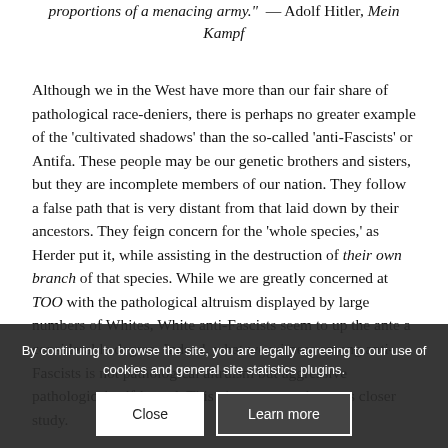proportions of a menacing army." — Adolf Hitler, Mein Kampf
Although we in the West have more than our fair share of pathological race-deniers, there is perhaps no greater example of the 'cultivated shadows' than the so-called 'anti-Fascists' or Antifa. These people may be our genetic brothers and sisters, but they are incomplete members of our nation. They follow a false path that is very distant from that laid down by their ancestors. They feign concern for the 'whole species,' as Herder put it, while assisting in the destruction of their own branch of that species. While we are greatly concerned at TOO with the pathological altruism displayed by large numbers of Whites, White anti-Fascists seem to up the ante a considerable degree. Indeed, what we witness among anti-Fascists is not pathological altruism but aggressive pathological self-hatred. This phenomenon deserves closer study.
By continuing to browse the site, you are legally agreeing to our use of cookies and general site statistics plugins.
Close
Learn more